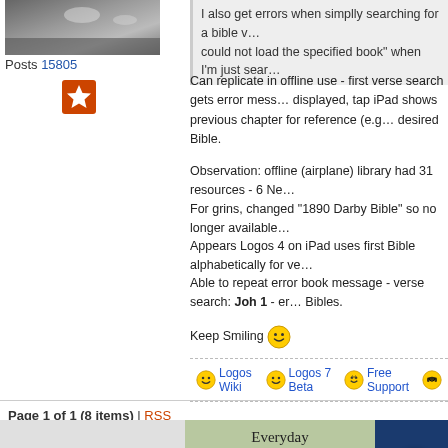[Figure (photo): User avatar showing a sky/landscape image]
Posts 15805
[Figure (illustration): Orange star badge icon]
I also get errors when simplly searching for a bible verse - get "could not load the specified book" when I'm just searching.
Can replicate in offline use - first verse search gets error message displayed, tap iPad shows previous chapter for reference (e.g. Gen 1) in desired Bible.
Observation: offline (airplane) library had 31 resources - 6 New...
For grins, changed "1890 Darby Bible" so no longer available...
Appears Logos 4 on iPad uses first Bible alphabetically for ve...
Able to repeat error book message - verse search: Joh 1 - error... Bibles.
Keep Smiling 😊
🙂 Logos Wiki 🙂 Logos 7 Beta 🤓 Free Support 😎
Page 1 of 1 (8 items) | RSS
[Figure (illustration): Advertisement banner showing Everyday Theology book with FREE offer]